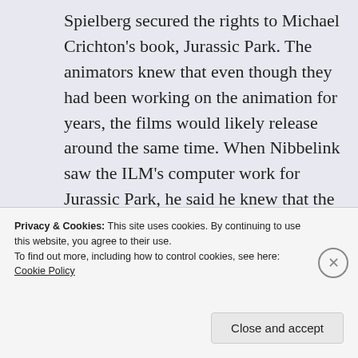Spielberg secured the rights to Michael Crichton's book, Jurassic Park. The animators knew that even though they had been working on the animation for years, the films would likely release around the same time. When Nibbelink saw the ILM's computer work for Jurassic Park, he said he knew that the film would be a game-changer. There's no doubt it overshadowed "We're Back" as the best Dinosaur film of the year, probably decade, maybe even century?
[Figure (photo): Dark image strip, appears to be a screenshot from a film or video, partially visible at bottom of main content area]
Privacy & Cookies: This site uses cookies. By continuing to use this website, you agree to their use.
To find out more, including how to control cookies, see here: Cookie Policy